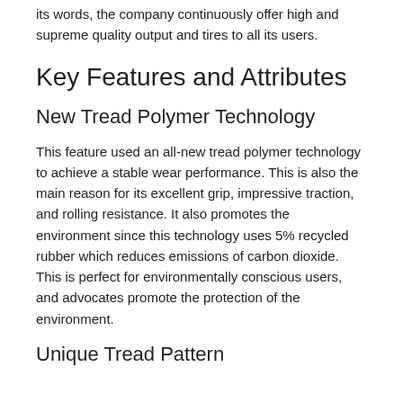its words, the company continuously offer high and supreme quality output and tires to all its users.
Key Features and Attributes
New Tread Polymer Technology
This feature used an all-new tread polymer technology to achieve a stable wear performance. This is also the main reason for its excellent grip, impressive traction, and rolling resistance. It also promotes the environment since this technology uses 5% recycled rubber which reduces emissions of carbon dioxide. This is perfect for environmentally conscious users, and advocates promote the protection of the environment.
Unique Tread Pattern